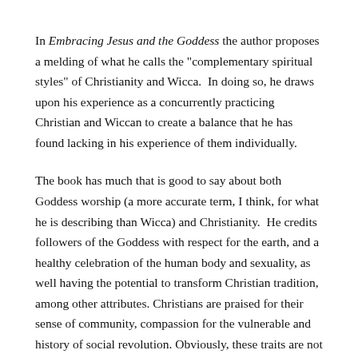In Embracing Jesus and the Goddess the author proposes a melding of what he calls the "complementary spiritual styles" of Christianity and Wicca.  In doing so, he draws upon his experience as a concurrently practicing Christian and Wiccan to create a balance that he has found lacking in his experience of them individually.
The book has much that is good to say about both Goddess worship (a more accurate term, I think, for what he is describing than Wicca) and Christianity.  He credits followers of the Goddess with respect for the earth, and a healthy celebration of the human body and sexuality, as well having the potential to transform Christian tradition, among other attributes. Christians are praised for their sense of community, compassion for the vulnerable and history of social revolution. Obviously, these traits are not exclusive to one group or the other, but examples of what McColman sees are notable in each. Both groups also receive equal amounts of criticism for what he sees as their